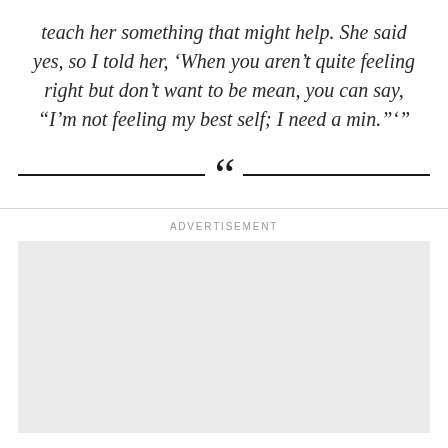teach her something that might help. She said yes, so I told her, ‘When you aren’t quite feeling right but don’t want to be mean, you can say, “I’m not feeling my best self; I need a min.”‘”
[Figure (other): Decorative large quotation mark with horizontal rules on either side]
ADVERTISEMENT
[Figure (other): Advertisement placeholder box (light gray rectangle)]